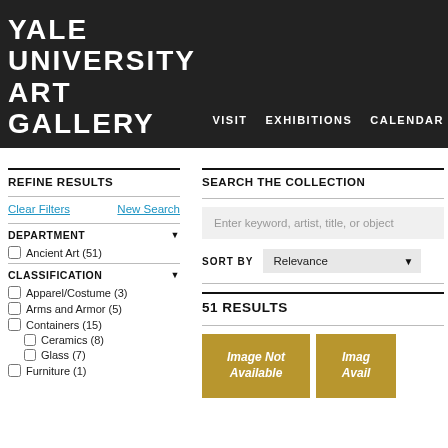YALE UNIVERSITY ART GALLERY
REFINE RESULTS
Clear Filters   New Search
DEPARTMENT
Ancient Art (51)
CLASSIFICATION
Apparel/Costume (3)
Arms and Armor (5)
Containers (15)
Ceramics (8)
Glass (7)
Furniture (1)
SEARCH THE COLLECTION
Enter keyword, artist, title, or object
SORT BY  Relevance
51 RESULTS
[Figure (other): Image Not Available placeholder card]
[Figure (other): Image Not Available placeholder card (partially visible)]